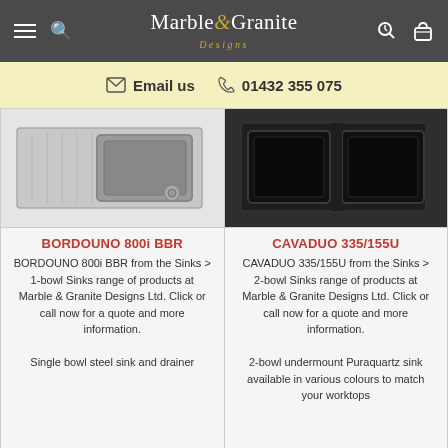Marble & Granite Designs
Email us  01432 355 075
[Figure (photo): BORDOUNO 800i BBR stainless steel single bowl sink with drainer, top view]
BORDOUNO 800i BBR
BORDOUNO 800i BBR from the Sinks > 1-bowl Sinks range of products at Marble & Granite Designs Ltd. Click or call now for a quote and more information.
Single bowl steel sink and drainer
[Figure (photo): CAVADUO 335/155U dark granite 2-bowl undermount sink, top view]
CAVADUO 335/155U
CAVADUO 335/155U from the Sinks > 2-bowl Sinks range of products at Marble & Granite Designs Ltd. Click or call now for a quote and more information.
2-bowl undermount Puraquartz sink available in various colours to match your worktops